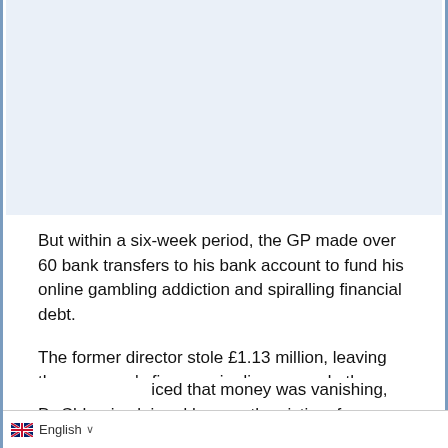[Figure (other): Light blue background area at top of page, representing an image placeholder or advertisement space]
But within a six-week period, the GP made over 60 bank transfers to his bank account to fund his online gambling addiction and spiralling financial debt.
The former director stole £1.13 million, leaving the company's finances in disarray and other directors needing therapy.
Matthew Lawson, prosecuting, said that when a [noticed that money was vanishing, Dr Chhapia claimed he was the victim of cybercrime and continued to steal money.
🇬🇧 English ∨